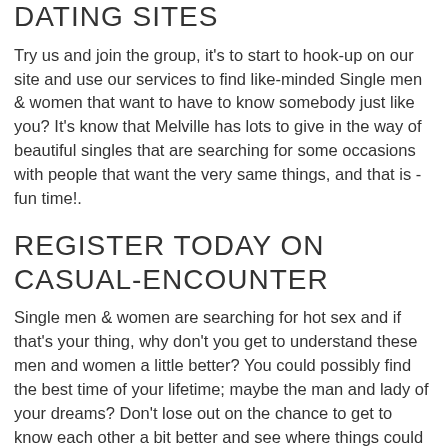DATING SITES
Try us and join the group, it's to start to hook-up on our site and use our services to find like-minded Single men & women that want to have to know somebody just like you? It's know that Melville has lots to give in the way of beautiful singles that are searching for some occasions with people that want the very same things, and that is - fun time!.
REGISTER TODAY ON CASUAL-ENCOUNTER
Single men & women are searching for hot sex and if that's your thing, why don't you get to understand these men and women a little better? You could possibly find the best time of your lifetime; maybe the man and lady of your dreams? Don't lose out on the chance to get to know each other a bit better and see where things could cause. You surely won't forget getting to know these singles who little bit